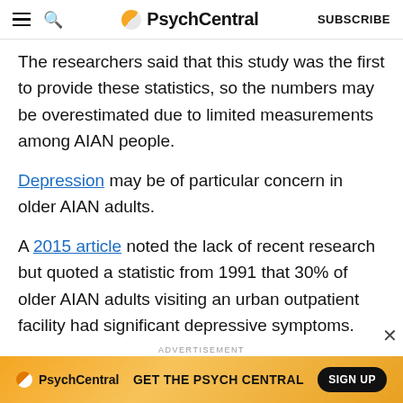PsychCentral  SUBSCRIBE
The researchers said that this study was the first to provide these statistics, so the numbers may be overestimated due to limited measurements among AIAN people.
Depression may be of particular concern in older AIAN adults.
A 2015 article noted the lack of recent research but quoted a statistic from 1991 that 30% of older AIAN adults visiting an urban outpatient facility had significant depressive symptoms.
A 2021 research review found that 14% to 29.7% of
[Figure (other): PsychCentral advertisement banner: GET THE PSYCH CENTRAL with SIGN UP button, on an orange/yellow gradient background]